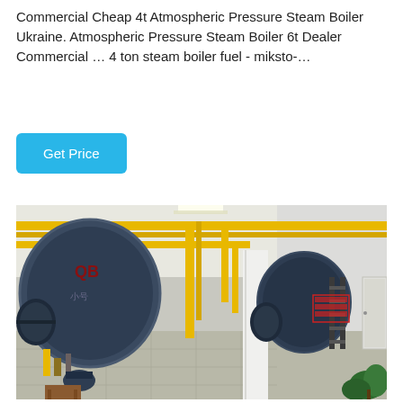Commercial Cheap 4t Atmospheric Pressure Steam Boiler Ukraine. Atmospheric Pressure Steam Boiler 6t Dealer Commercial … 4 ton steam boiler fuel - miksto-…
Get Price
[Figure (photo): Industrial boiler room with two large dark blue horizontal steam boilers mounted on frames, yellow gas pipes running along the ceiling and walls, gauges and valves visible, white tiled floor, white walls with red signage, and green plants in the right foreground.]